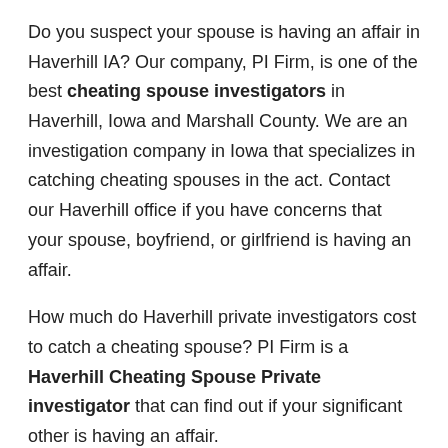Do you suspect your spouse is having an affair in Haverhill IA? Our company, PI Firm, is one of the best cheating spouse investigators in Haverhill, Iowa and Marshall County. We are an investigation company in Iowa that specializes in catching cheating spouses in the act. Contact our Haverhill office if you have concerns that your spouse, boyfriend, or girlfriend is having an affair.
How much do Haverhill private investigators cost to catch a cheating spouse? PI Firm is a Haverhill Cheating Spouse Private investigator that can find out if your significant other is having an affair.
Haverhill Cheating Spouse FAQs
What does hiring a Haverhill private investigator to catch a cheating spouse cost?
How do I hire a Haverhill private investigator to catch a